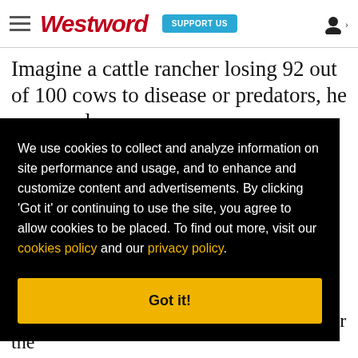Westword — SUPPORT US
Imagine a cattle rancher losing 92 out of 100 cows to disease or predators, he says, and you
We use cookies to collect and analyze information on site performance and usage, and to enhance and customize content and advertisements. By clicking 'Got it' or continuing to use the site, you agree to allow cookies to be placed. To find out more, visit our cookies policy and our privacy policy.
Got it!
growers maintained 45,000 hives. Last year the